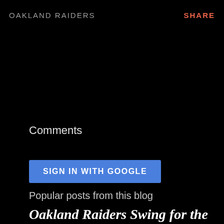OAKLAND RAIDERS    SHARE
Comments
SIGN IN WITH GOOGLE
Popular posts from this blog
Oakland Raiders Swing for the